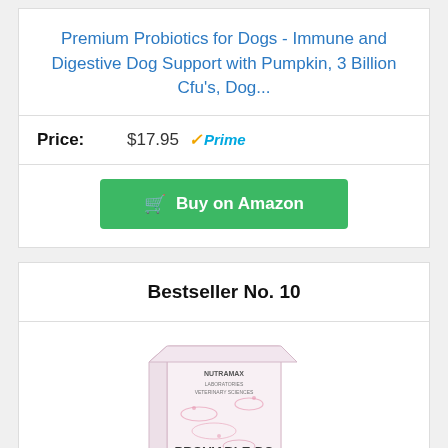Premium Probiotics for Dogs - Immune and Digestive Dog Support with Pumpkin, 3 Billion Cfu's, Dog...
Price: $17.95 ✓Prime
Buy on Amazon
Bestseller No. 10
[Figure (photo): Product box of Proviable-DC Digestive Health Supplement, 60 Chewable Tablets, for dogs of all sizes, by Nutramax Laboratories]